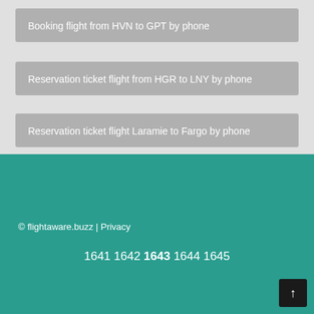Booking flight from HVN to GPT by phone
Reservation ticket flight from HGR to LNY by phone
Reservation ticket flight Laramie to Fargo by phone
© flightaware.buzz | Privacy
1641 1642 1643 1644 1645